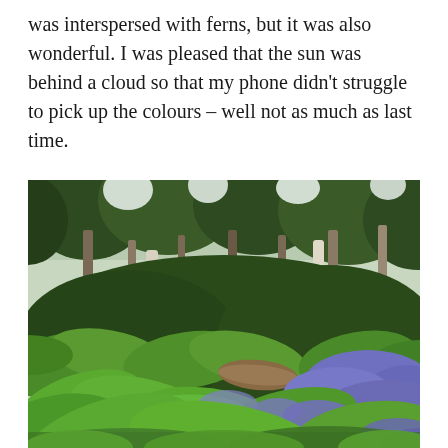was interspersed with ferns, but it was also wonderful. I was pleased that the sun was behind a cloud so that my phone didn't struggle to pick up the colours – well not as much as last time.
[Figure (photo): A woodland scene with bluebells growing among ferns on the forest floor, with trees visible in the background. The bluebells appear as purple-blue flowers amid bright green ferns and undergrowth.]